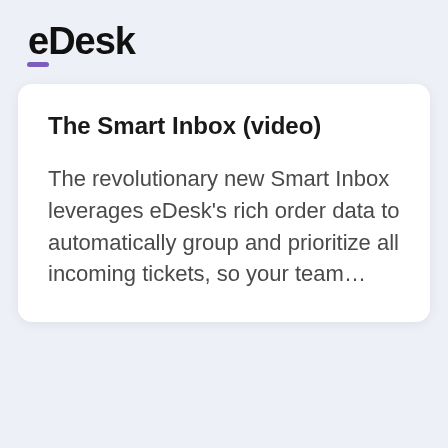eDesk
The Smart Inbox (video)
The revolutionary new Smart Inbox leverages eDesk's rich order data to automatically group and prioritize all incoming tickets, so your team…